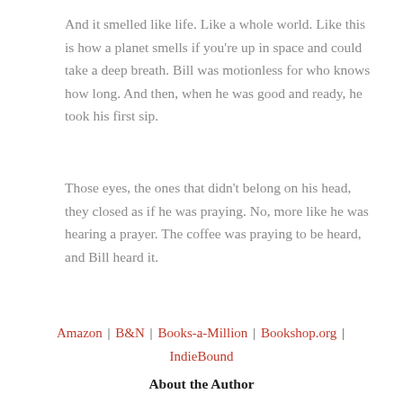And it smelled like life. Like a whole world. Like this is how a planet smells if you're up in space and could take a deep breath. Bill was motionless for who knows how long. And then, when he was good and ready, he took his first sip.
Those eyes, the ones that didn't belong on his head, they closed as if he was praying. No, more like he was hearing a prayer. The coffee was praying to be heard, and Bill heard it.
Amazon | B&N | Books-a-Million | Bookshop.org | IndieBound
About the Author